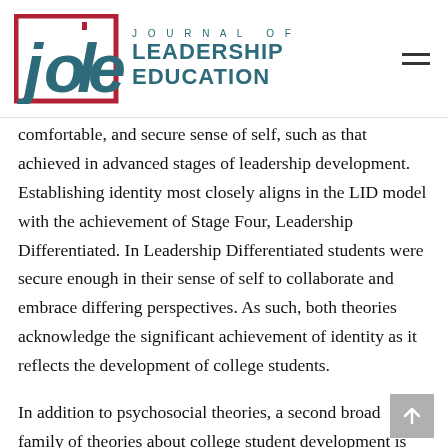Journal of Leadership Education
comfortable, and secure sense of self, such as that achieved in advanced stages of leadership development. Establishing identity most closely aligns in the LID model with the achievement of Stage Four, Leadership Differentiated. In Leadership Differentiated students were secure enough in their sense of self to collaborate and embrace differing perspectives. As such, both theories acknowledge the significant achievement of identity as it reflects the development of college students.
In addition to psychosocial theories, a second broad family of theories about college student development is the cognitive family which addresses students' intellectual and moral